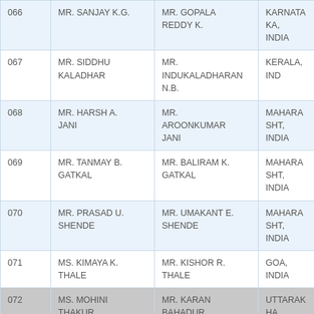| No. | Name | Father/Guardian | State/Country |
| --- | --- | --- | --- |
| 066 | MR. SANJAY K.G. | MR. GOPALA REDDY K. | KARNATAKA, INDIA |
| 067 | MR. SIDDHU KALADHAR | MR. INDUKALADHARAN N.B. | KERALA, INDIA |
| 068 | MR. HARSH A. JANI | MR. AROONKUMAR JANI | MAHARASHTRA, INDIA |
| 069 | MR. TANMAY B. GATKAL | MR. BALIRAM K. GATKAL | MAHARASHTRA, INDIA |
| 070 | MR. PRASAD U. SHENDE | MR. UMAKANT E. SHENDE | MAHARASHTRA, INDIA |
| 071 | MS. KIMAYA K. THALE | MR. KISHOR R. THALE | GOA, INDIA |
| 072 | MS. MOHINI THAKUR | MR. KARAN BAHADUR THAKUR | UTTARAKHAND, INDIA |